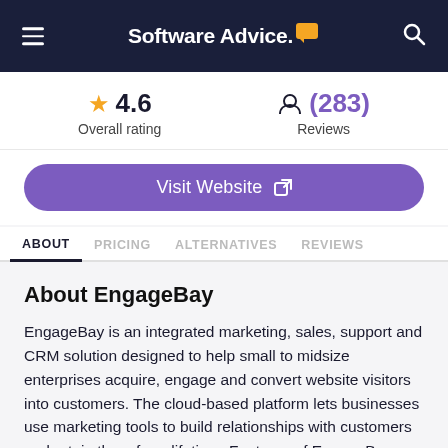Software Advice.
4.6 Overall rating
(283) Reviews
Visit Website
ABOUT  PRICING  ALTERNATIVES  REVIEWS
About EngageBay
EngageBay is an integrated marketing, sales, support and CRM solution designed to help small to midsize enterprises acquire, engage and convert website visitors into customers. The cloud-based platform lets businesses use marketing tools to build relationships with customers and retain them for a lifetime. Features of EngageBay include